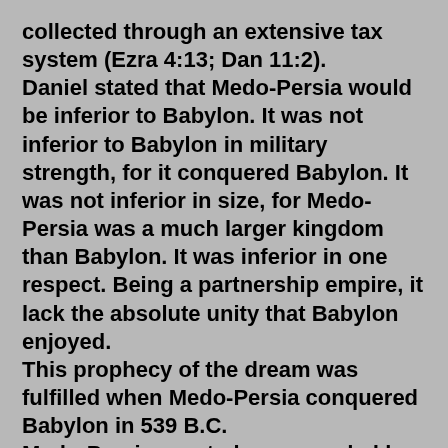collected through an extensive tax system (Ezra 4:13; Dan 11:2).
Daniel stated that Medo-Persia would be inferior to Babylon. It was not inferior to Babylon in military strength, for it conquered Babylon. It was not inferior in size, for Medo-Persia was a much larger kingdom than Babylon. It was inferior in one respect. Being a partnership empire, it lack the absolute unity that Babylon enjoyed.
This prophecy of the dream was fulfilled when Medo-Persia conquered Babylon in 539 B.C.
Medo-Persia was to be succeeded by a